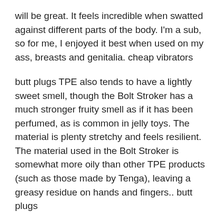will be great. It feels incredible when swatted against different parts of the body. I'm a sub, so for me, I enjoyed it best when used on my ass, breasts and genitalia. cheap vibrators
butt plugs TPE also tends to have a lightly sweet smell, though the Bolt Stroker has a much stronger fruity smell as if it has been perfumed, as is common in jelly toys. The material is plenty stretchy and feels resilient. The material used in the Bolt Stroker is somewhat more oily than other TPE products (such as those made by Tenga), leaving a greasy residue on hands and fingers.. butt plugs
cock rings In short, this is still a bill that directs enormous benefits to the rich and to corporations and hammers middle class people in high cost and high tax states. The complexity of the proposals undercuts its claim to be “tax simplification” while diminishing some pro growth